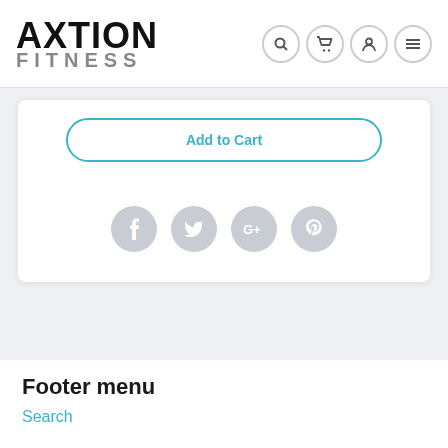[Figure (logo): Axtion Fitness logo with black bold AXTION text and gray FITNESS text below]
[Figure (infographic): Navigation icons: search (magnifier), cart, user/account, and hamburger menu, each in a circular outlined button]
Add to Cart
[Figure (infographic): Social media share icons: Facebook, Twitter, Google+, Pinterest — gray circular buttons]
Footer menu
Search